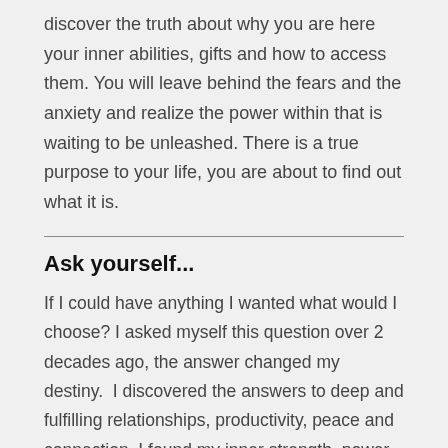discover the truth about why you are here your inner abilities, gifts and how to access them. You will leave behind the fears and the anxiety and realize the power within that is waiting to be unleashed. There is a true purpose to your life, you are about to find out what it is.
Ask yourself...
If I could have anything I wanted what would I choose? I asked myself this question over 2 decades ago, the answer changed my destiny.  I discovered the answers to deep and fulfilling relationships, productivity, peace and connection. I found my inner strength, power, Love, unimaginable beauty and above all deep fulfillment.